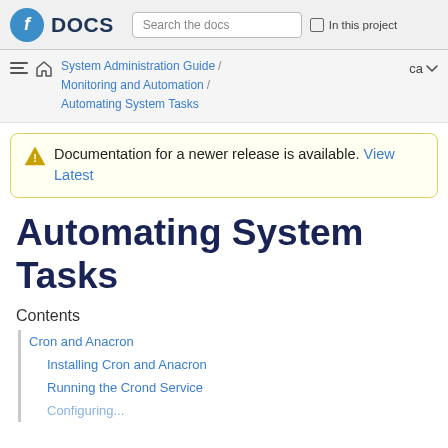Fedora DOCS | Search the docs | In this project
System Administration Guide / Monitoring and Automation / Automating System Tasks | ca
Documentation for a newer release is available. View Latest
Automating System Tasks
Contents
Cron and Anacron
Installing Cron and Anacron
Running the Crond Service